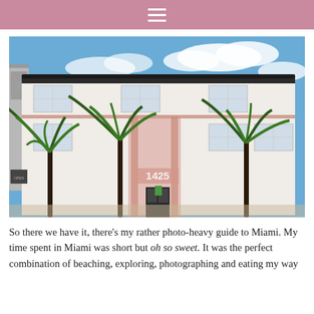☰
[Figure (photo): Exterior of a white Art Deco building numbered 1425 with pink accents, palm trees in front, and a blue sky with clouds. Located in Miami Beach.]
So there we have it, there's my rather photo-heavy guide to Miami. My time spent in Miami was short but oh so sweet. It was the perfect combination of beaching, exploring, photographing and eating my way